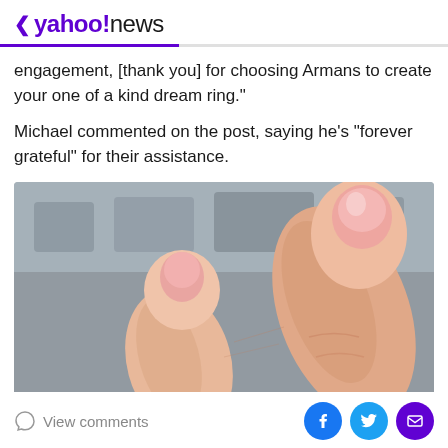< yahoo!news
engagement, [thank you] for choosing Armans to create your one of a kind dream ring."
Michael commented on the post, saying he's "forever grateful" for their assistance.
[Figure (photo): Close-up photograph of two fingers (ring finger and index finger) with pink-tipped nails against a blurred gray background, showing no ring on the finger.]
View comments